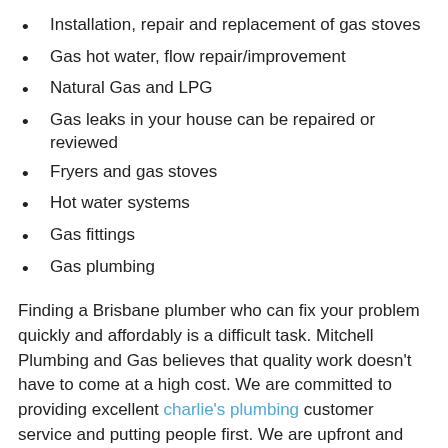Installation, repair and replacement of gas stoves
Gas hot water, flow repair/improvement
Natural Gas and LPG
Gas leaks in your house can be repaired or reviewed
Fryers and gas stoves
Hot water systems
Gas fittings
Gas plumbing
Finding a Brisbane plumber who can fix your problem quickly and affordably is a difficult task. Mitchell Plumbing and Gas believes that quality work doesn't have to come at a high cost. We are committed to providing excellent charlie's plumbing customer service and putting people first. We are upfront and transparent with all our customers. After a free quote, we explain everything to you in plain English. This keeps you at the center of every decision and allows you to see what we